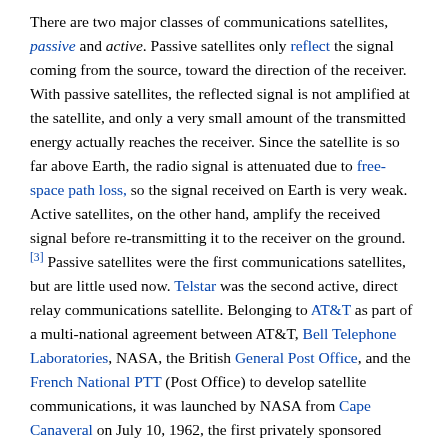There are two major classes of communications satellites, passive and active. Passive satellites only reflect the signal coming from the source, toward the direction of the receiver. With passive satellites, the reflected signal is not amplified at the satellite, and only a very small amount of the transmitted energy actually reaches the receiver. Since the satellite is so far above Earth, the radio signal is attenuated due to free-space path loss, so the signal received on Earth is very weak. Active satellites, on the other hand, amplify the received signal before re-transmitting it to the receiver on the ground.[3] Passive satellites were the first communications satellites, but are little used now. Telstar was the second active, direct relay communications satellite. Belonging to AT&T as part of a multi-national agreement between AT&T, Bell Telephone Laboratories, NASA, the British General Post Office, and the French National PTT (Post Office) to develop satellite communications, it was launched by NASA from Cape Canaveral on July 10, 1962, the first privately sponsored space launch. Relay 1 was launched on December 13, 1962, and became the first satellite to broadcast across the Pacific on November 22, 1963.[8]
An immediate antecedent of the geostationary satellites was